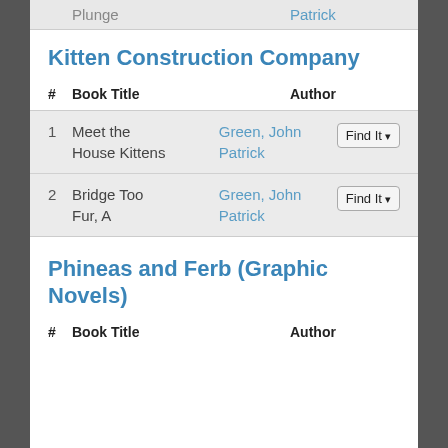| # | Book Title | Author |  |
| --- | --- | --- | --- |
|  | Plunge | Patrick |  |
Kitten Construction Company
| # | Book Title | Author |
| --- | --- | --- |
| 1 | Meet the House Kittens | Green, John Patrick | Find It |
| 2 | Bridge Too Fur, A | Green, John Patrick | Find It |
Phineas and Ferb (Graphic Novels)
| # | Book Title | Author |
| --- | --- | --- |